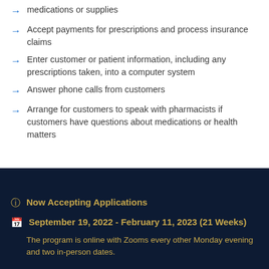medications or supplies
Accept payments for prescriptions and process insurance claims
Enter customer or patient information, including any prescriptions taken, into a computer system
Answer phone calls from customers
Arrange for customers to speak with pharmacists if customers have questions about medications or health matters
QUICK FACTS
Now Accepting Applications
September 19, 2022 - February 11, 2023 (21 Weeks)
The program is online with Zooms every other Monday evening and two in-person dates.